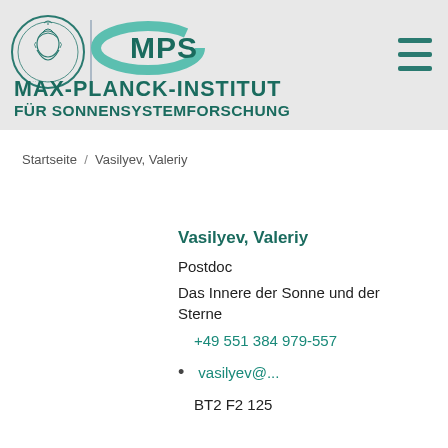[Figure (logo): Max-Planck-Institut für Sonnensystemforschung logo with Minerva medallion, vertical divider, and MPS swoosh text]
MAX-PLANCK-INSTITUT FÜR SONNENSYSTEMFORSCHUNG
Startseite / Vasilyev, Valeriy
Vasilyev, Valeriy
Postdoc
Das Innere der Sonne und der Sterne
+49 551 384 979-557
vasilyev@...
BT2 F2 125